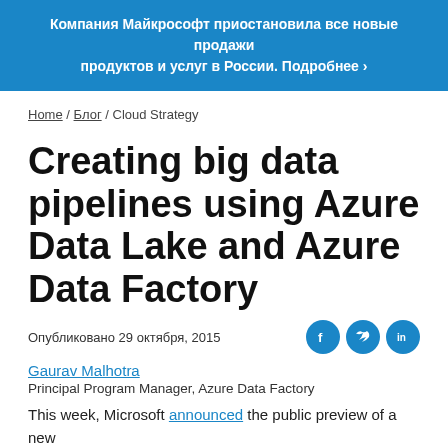Компания Майкрософт приостановила все новые продажи продуктов и услуг в России. Подробнее ›
Home / Блог / Cloud Strategy
Creating big data pipelines using Azure Data Lake and Azure Data Factory
Опубликовано 29 октября, 2015
Gaurav Malhotra
Principal Program Manager, Azure Data Factory
This week, Microsoft announced the public preview of a new